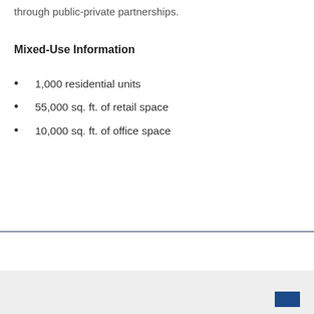through public-private partnerships.
Mixed-Use Information
1,000 residential units
55,000 sq. ft. of retail space
10,000 sq. ft. of office space